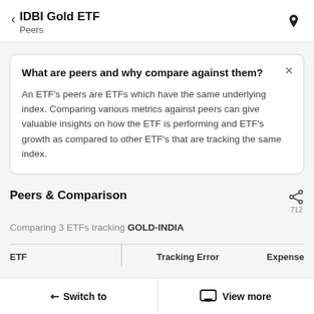IDBI Gold ETF — Peers
What are peers and why compare against them?
An ETF's peers are ETFs which have the same underlying index. Comparing various metrics against peers can give valuable insights on how the ETF is performing and ETF's growth as compared to other ETF's that are tracking the same index.
Peers & Comparison
Comparing 3 ETFs tracking GOLD-INDIA
| ETF | Tracking Error | Expense |
| --- | --- | --- |